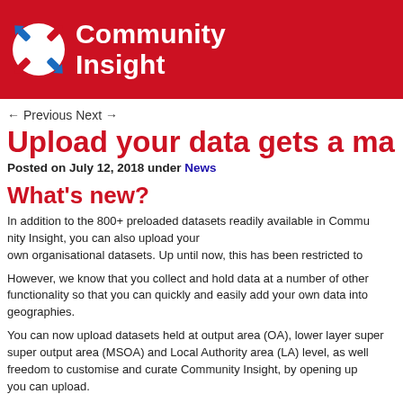Community Insight
← Previous Next →
Upload your data gets a makeover
Posted on July 12, 2018 under News
What's new?
In addition to the 800+ preloaded datasets readily available in Community Insight, you can also upload your own organisational datasets. Up until now, this has been restricted to...
However, we know that you collect and hold data at a number of other geographies, so we have updated our functionality so that you can quickly and easily add your own data into Community Insight at a range of geographies.
You can now upload datasets held at output area (OA), lower layer super output area (LSOA), middle layer super output area (MSOA) and Local Authority area (LA) level, as well as... This gives you even more freedom to customise and curate Community Insight, by opening up the range of geographies for which you can upload.
Please note: Community Insight Scotland users will use Data Zones...